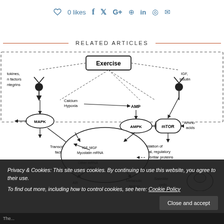[Figure (other): Social sharing bar with heart/likes icon showing 0 likes, and social media icons for Facebook, Twitter, Google+, Pinterest, LinkedIn, WhatsApp, Email]
RELATED ARTICLES
[Figure (flowchart): Biological signaling diagram showing Exercise at the center top, with arrows showing pathways: cytokines/growth factors/integrins and IGF/Insulin on the sides, Calcium/Hypoxia and AMP pathways to AMPK, mTOR inhibited by AMPK, Amino acids activating mTOR, mTOR leading to Translation of ribosomal, regulatory and myofibrillar proteins, MAPK and Transcription factors on left side, inner cell nucleus showing IGF/MGF/Myostatin mRNA, Other mRNA/rRNA, AR, Metabolic factors, and Satellite cells]
Privacy & Cookies: This site uses cookies. By continuing to use this website, you agree to their use.
To find out more, including how to control cookies, see here: Cookie Policy
The...